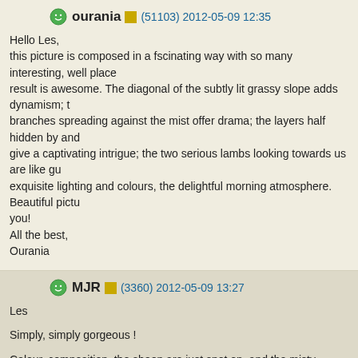ourania (51103) 2012-05-09 12:35
Hello Les,
this picture is composed in a fscinating way with so many interesting, well place result is awesome. The diagonal of the subtly lit grassy slope adds dynamism; t branches spreading against the mist offer drama; the layers half hidden by and give a captivating intrigue; the two serious lambs looking towards us are like gu exquisite lighting and colours, the delightful morning atmosphere. Beautiful pictu you!
All the best,
Ourania
MJR (3360) 2012-05-09 13:27
Les

Simply, simply gorgeous !

Colour, composition, the sheep are just spot on, and the misty backdrop - all lov

Early light,( when I get it ! )is the best, and you have made esp good use of it he

TFS

Martin